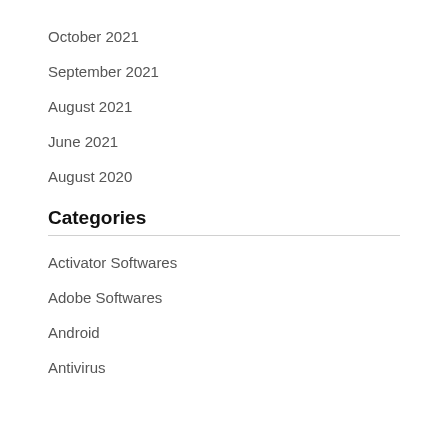October 2021
September 2021
August 2021
June 2021
August 2020
Categories
Activator Softwares
Adobe Softwares
Android
Antivirus